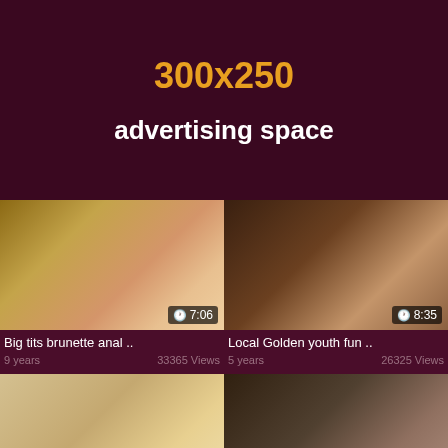[Figure (infographic): Advertising banner placeholder showing '300x250' in orange bold text and 'advertising space' in white bold text on dark maroon background]
[Figure (screenshot): Video thumbnail - Big tits brunette anal, duration 7:06]
Big tits brunette anal ..
9 years    33365 Views
[Figure (screenshot): Video thumbnail - Local Golden youth fun, duration 8:35]
Local Golden youth fun ..
5 years    26325 Views
[Figure (screenshot): Video thumbnail bottom left - partial view]
[Figure (screenshot): Video thumbnail bottom right - partial view]